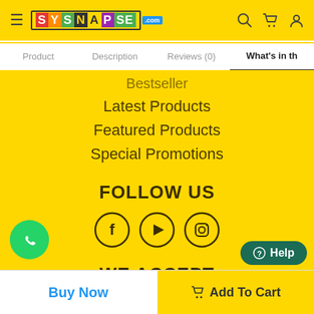SYSNAPSE .com — navigation header with hamburger menu, logo, search, cart, and user icons
Product | Description | Reviews (0) | What's in th
Bestseller
Latest Products
Featured Products
Special Promotions
FOLLOW US
[Figure (other): Facebook, YouTube, Instagram social media circle icon buttons]
[Figure (other): WhatsApp floating chat button (green circle with phone icon)]
WE ACCEPT
[Figure (other): Payment logos: Maybank, CIMB, and others partially visible]
Buy Now | Add To Cart | Help
[Figure (other): Help button in dark teal]